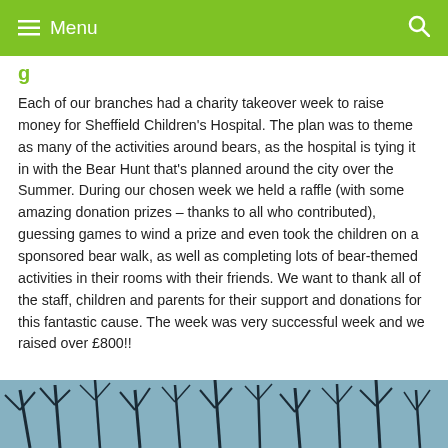Menu
g
Each of our branches had a charity takeover week to raise money for Sheffield Children's Hospital. The plan was to theme as many of the activities around bears, as the hospital is tying it in with the Bear Hunt that's planned around the city over the Summer. During our chosen week we held a raffle (with some amazing donation prizes – thanks to all who contributed), guessing games to wind a prize and even took the children on a sponsored bear walk, as well as completing lots of bear-themed activities in their rooms with their friends. We want to thank all of the staff, children and parents for their support and donations for this fantastic cause. The week was very successful week and we raised over £800!!
[Figure (photo): Outdoor winter tree branches photograph, blue-tinted, shown at the bottom of the page as a partial strip.]